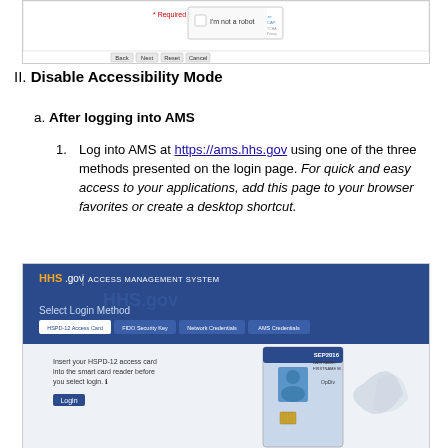[Figure (screenshot): Screenshot of a web form with CAPTCHA 'I'm not a robot' checkbox and Back, Next, Reset, Cancel buttons]
II. Disable Accessibility Mode
a. After logging into AMS
Log into AMS at https://ams.hhs.gov using one of the three methods presented on the login page. For quick and easy access to your applications, add this page to your browser favorites or create a desktop shortcut.
[Figure (screenshot): Screenshot of HHS.gov Access Management System login page showing Select Login Method with tabs: HSPD-12 Access Card, FIDO Security Key, Network Credentials, AMS Credentials. The HSPD-12 tab is active showing instructions to insert card and a Login button, with an ID card image on the right.]